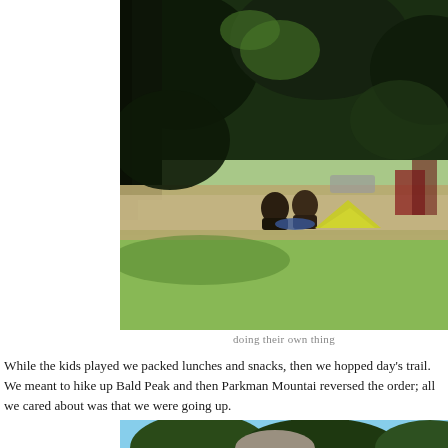[Figure (photo): Outdoor campsite scene with large trees providing shade. Two people sitting on the ground next to a yellow-green tent. A gravel path runs through the scene. Red structures or equipment visible in the background right. Green grass in the foreground.]
doing their own thing
While the kids played we packed lunches and snacks, then we hopped day's trail. We meant to hike up Bald Peak and then Parkman Mountai reversed the order; all we cared about was that we were going up.
[Figure (photo): Forest trail scene with tall trees and blue sky visible through the canopy. Rocky terrain or boulders visible among the trees.]